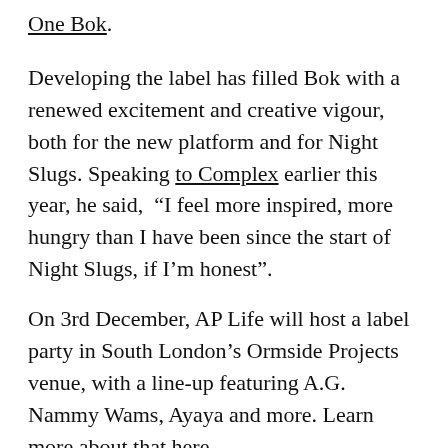One Bok.
Developing the label has filled Bok with a renewed excitement and creative vigour, both for the new platform and for Night Slugs. Speaking to Complex earlier this year, he said, “I feel more inspired, more hungry than I have been since the start of Night Slugs, if I’m honest”.
On 3rd December, AP Life will host a label party in South London’s Ormside Projects venue, with a line-up featuring A.G. Nammy Wams, Ayaya and more. Learn more about that here.
Below, Bok Bok’s Selections touch on the sounds that have informed both Night Slugs and AP Life, with an emphasis on new music from the UK and beyond, with one recently unearthed classic